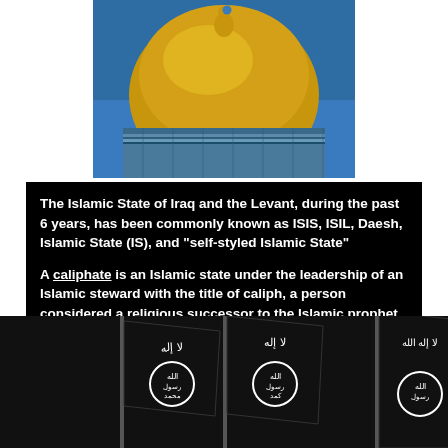[Figure (photo): Dome of the Rock mosque, golden dome against blue sky]
The Islamic State of Iraq and the Levant, during the past 6 years, has been commonly known as ISIS, ISIL, Daesh, Islamic State (IS), and "self-styled Islamic State"

A caliphate is an Islamic state under the leadership of an Islamic steward with the title of caliph, a person considered a religious successor to the Islamic prophet Muhammad and a leader of the entire ummah (community)
[Figure (photo): Three black ISIS/ISIL flags with white Arabic text and circular seal, partially visible]